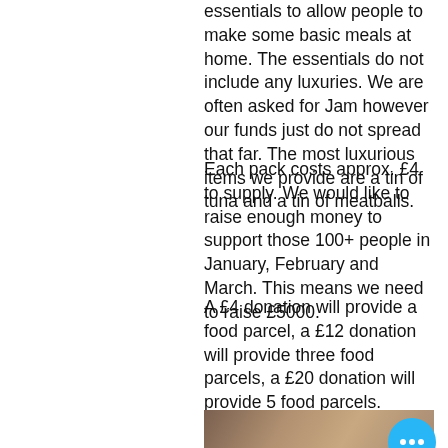essentials to allow people to make some basic meals at home. The essentials do not include any luxuries. We are often asked for Jam however our funds just do not spread that far. The most luxurious items we provide are a tin of tuna and a tin of meatballs.
Each pack costs approx. £4 to supply. We would like to raise enough money to support those 100+ people in January, February and March. This means we need to raise £5000.
A £4 donation will provide a food parcel, a £12 donation will provide three food parcels, a £20 donation will provide 5 food parcels.
Could you gift someone a weeks worth of basic essentials?
[Figure (photo): A blurred/obscured photograph, partially visible at the bottom of the page, with a blue circular button overlay containing three dots (more options button).]